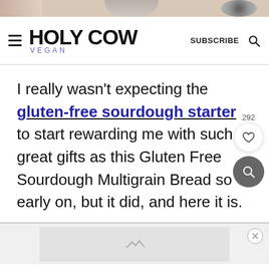[Figure (screenshot): Top image strip with food photos]
Holy Cow Vegan — SUBSCRIBE
I really wasn't expecting the gluten-free sourdough starter to start rewarding me with such great gifts as this Gluten Free Sourdough Multigrain Bread so early on, but it did, and here it is.
[Figure (photo): Bottom advertisement image strip]